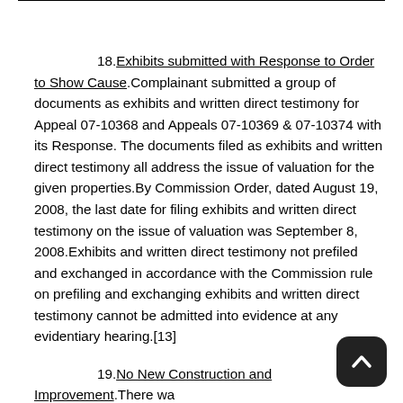18. Exhibits submitted with Response to Order to Show Cause. Complainant submitted a group of documents as exhibits and written direct testimony for Appeal 07-10368 and Appeals 07-10369 & 07-10374 with its Response. The documents filed as exhibits and written direct testimony all address the issue of valuation for the given properties.By Commission Order, dated August 19, 2008, the last date for filing exhibits and written direct testimony on the issue of valuation was September 8, 2008.Exhibits and written direct testimony not prefiled and exchanged in accordance with the Commission rule on prefiling and exchanging exhibits and written direct testimony cannot be admitted into evidence at any evidentiary hearing.[13]
19. No New Construction and Improvement. There wa[s evidence of new construction and improvement for...]